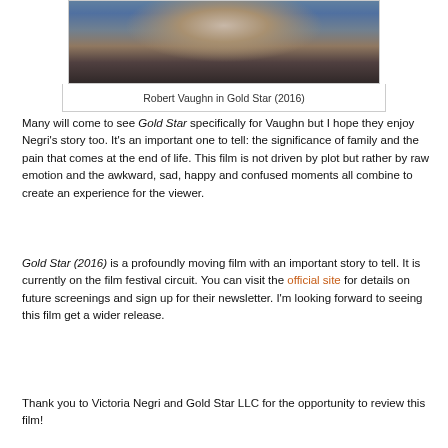[Figure (photo): Photo of Robert Vaughn in a blue denim shirt, partial view cropped at top of frame]
Robert Vaughn in Gold Star (2016)
Many will come to see Gold Star specifically for Vaughn but I hope they enjoy Negri’s story too. It’s an important one to tell: the significance of family and the pain that comes at the end of life. This film is not driven by plot but rather by raw emotion and the awkward, sad, happy and confused moments all combine to create an experience for the viewer.
Gold Star (2016) is a profoundly moving film with an important story to tell. It is currently on the film festival circuit. You can visit the official site for details on future screenings and sign up for their newsletter. I’m looking forward to seeing this film get a wider release.
Thank you to Victoria Negri and Gold Star LLC for the opportunity to review this film!